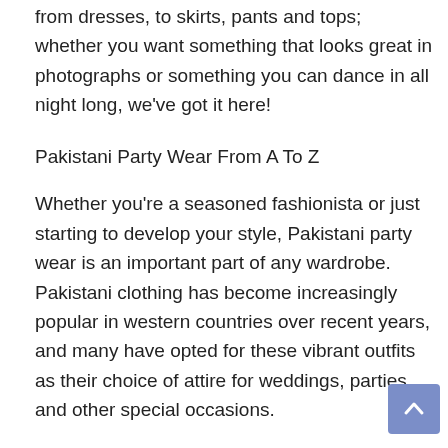from dresses, to skirts, pants and tops; whether you want something that looks great in photographs or something you can dance in all night long, we've got it here!
Pakistani Party Wear From A To Z
Whether you're a seasoned fashionista or just starting to develop your style, Pakistani party wear is an important part of any wardrobe. Pakistani clothing has become increasingly popular in western countries over recent years, and many have opted for these vibrant outfits as their choice of attire for weddings, parties and other special occasions.
If you're interested in purchasing some Pakistani party wear UK, there are several